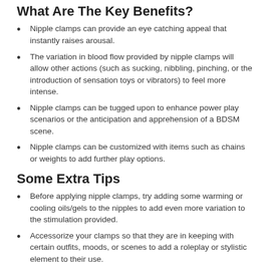What Are The Key Benefits?
Nipple clamps can provide an eye catching appeal that instantly raises arousal.
The variation in blood flow provided by nipple clamps will allow other actions (such as sucking, nibbling, pinching, or the introduction of sensation toys or vibrators) to feel more intense.
Nipple clamps can be tugged upon to enhance power play scenarios or the anticipation and apprehension of a BDSM scene.
Nipple clamps can be customized with items such as chains or weights to add further play options.
Some Extra Tips
Before applying nipple clamps, try adding some warming or cooling oils/gels to the nipples to add even more variation to the stimulation provided.
Accessorize your clamps so that they are in keeping with certain outfits, moods, or scenes to add a roleplay or stylistic element to their use.